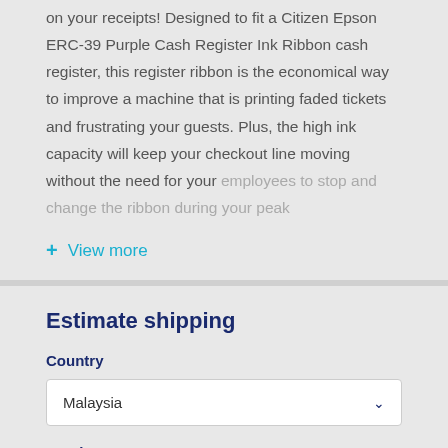on your receipts! Designed to fit a Citizen Epson ERC-39 Purple Cash Register Ink Ribbon cash register, this register ribbon is the economical way to improve a machine that is printing faded tickets and frustrating your guests. Plus, the high ink capacity will keep your checkout line moving without the need for your employees to stop and change the ribbon during your peak
+ View more
Estimate shipping
Country
Malaysia
Province